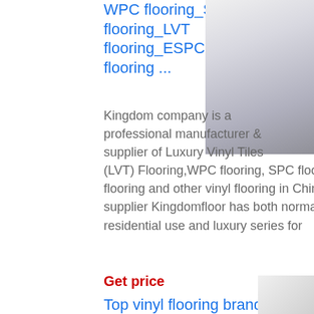WPC flooring_SPC flooring_LVT flooring_ESPC flooring ...
Kingdom company is a professional manufacturer & supplier of Luxury Vinyl Tiles (LVT) Flooring,WPC flooring, SPC flooring, flooring and other vinyl flooring in China. supplier Kingdomfloor has both normal se residential use and luxury series for
Get price
[Figure (photo): Photo of a bedroom with white furniture and light wood vinyl flooring]
Top vinyl flooring brands in
[Figure (photo): Partial photo of white furniture, bottom right corner]